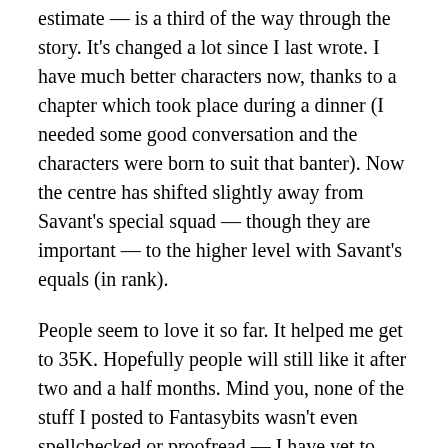estimate — is a third of the way through the story. It's changed a lot since I last wrote. I have much better characters now, thanks to a chapter which took place during a dinner (I needed some good conversation and the characters were born to suit that banter). Now the centre has shifted slightly away from Savant's special squad — though they are important — to the higher level with Savant's equals (in rank).
People seem to love it so far. It helped me get to 35K. Hopefully people will still like it after two and a half months. Mind you, none of the stuff I posted to Fantasybits wasn't even spellchecked or proofread — I have yet to read the damn thing again, fully at least, and promise not to until the words 'The End' flash by.
All other projects — writing in general, in fact — is